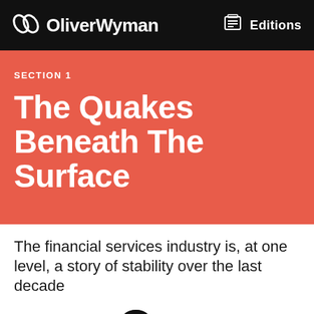OliverWyman Editions
SECTION 1
The Quakes Beneath The Surface
The financial services industry is, at one level, a story of stability over the last decade
First and foremost hasn't been a major financial crisis since 2008. This is a far cry from